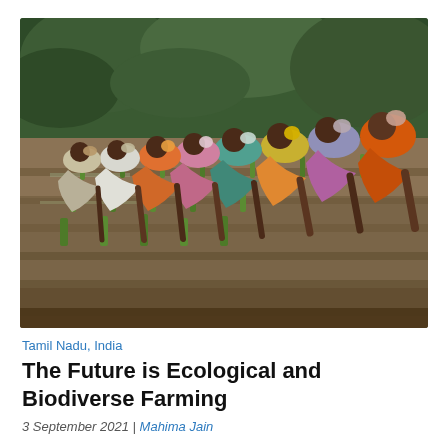[Figure (photo): Row of agricultural workers (women) bending over to plant rice seedlings in a flooded field in Tamil Nadu, India. Workers are wearing colorful head coverings. Lush green trees visible in background.]
Tamil Nadu, India
The Future is Ecological and Biodiverse Farming
3 September 2021 | Mahima Jain